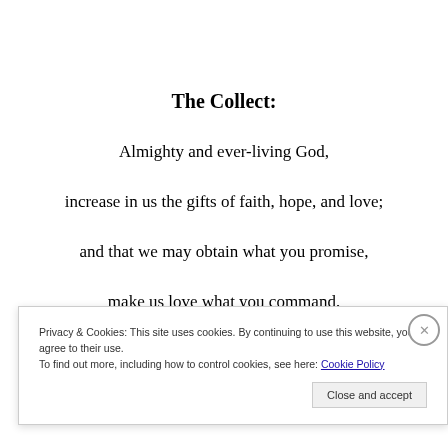The Collect:
Almighty and ever-living God,
increase in us the gifts of faith, hope, and love;
and that we may obtain what you promise,
make us love what you command,
Privacy & Cookies: This site uses cookies. By continuing to use this website, you agree to their use.
To find out more, including how to control cookies, see here: Cookie Policy